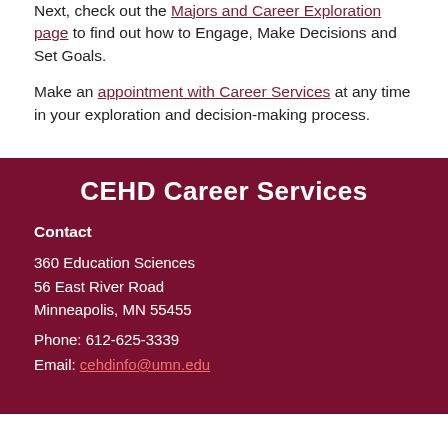Next, check out the Majors and Career Exploration page to find out how to Engage, Make Decisions and Set Goals.
Make an appointment with Career Services at any time in your exploration and decision-making process.
CEHD Career Services
Contact
360 Education Sciences
56 East River Road
Minneapolis, MN 55455
Phone: 612-625-3339
Email: cehdinfo@umn.edu